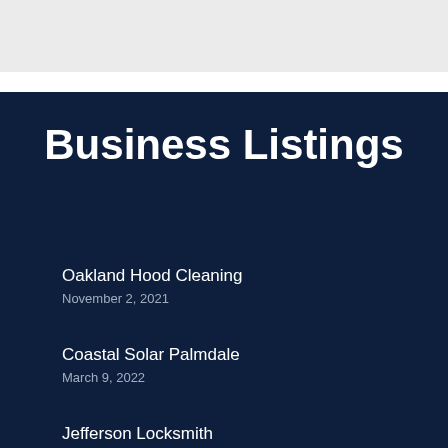Business Listings
Oakland Hood Cleaning
November 2, 2021
Coastal Solar Palmdale
March 9, 2022
Jefferson Locksmith